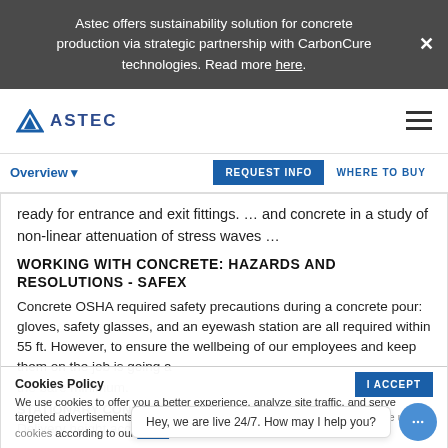Astec offers sustainability solution for concrete production via strategic partnership with CarbonCure technologies. Read more here.
[Figure (logo): Astec company logo with triangle icon and ASTEC text]
Overview ▾
REQUEST INFO | WHERE TO BUY
ready for entrance and exit fittings. … and concrete in a study of non-linear attenuation of stress waves …
WORKING WITH CONCRETE: HAZARDS AND RESOLUTIONS - SAFEX
Concrete OSHA required safety precautions during a concrete pour: gloves, safety glasses, and an eyewash station are all required within 55 ft. However, to ensure the wellbeing of our employees and keep them on the job is going a bit beyond the bare minimum.
STATIONARY CONCRETE PUMP FOR SALE - ON TRAILER
Cookies Policy
We use cookies to offer you a better experience, analyze site traffic, and serve targeted advertisements. By continuing to use this website, you consent to the use of cookies according to our cookie
I ACCEPT
Hey, we are live 24/7. How may I help you?